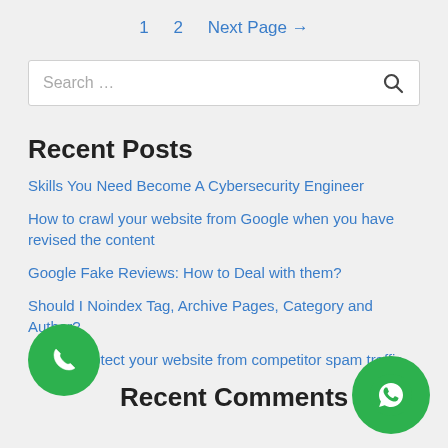1   2   Next Page →
[Figure (screenshot): Search input box with placeholder text 'Search …' and a search icon on the right]
Recent Posts
Skills You Need Become A Cybersecurity Engineer
How to crawl your website from Google when you have revised the content
Google Fake Reviews: How to Deal with them?
Should I Noindex Tag, Archive Pages, Category and Author?
How to protect your website from competitor spam traffic
Recent Comments